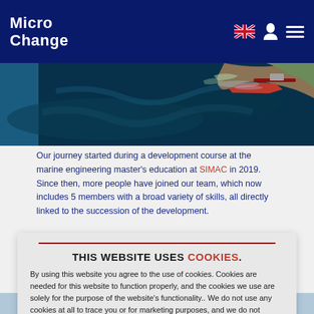MicroChange
[Figure (photo): Aerial view of a tanker ship on dark blue ocean water near a coastline]
Our journey started during a development course at the marine engineering master's education at SIMAC in 2019. Since then, more people have joined our team, which now includes 5 members with a broad variety of skills, all directly linked to the succession of the development.
This website uses COOKIES.
By using this website you agree to the use of cookies. Cookies are needed for this website to function properly, and the cookies we use are solely for the purpose of the website's functionality.. We do not use any cookies at all to trace you or for marketing purposes, and we do not supply any third party whatsoever with information related to the cookies. You can read about our cookie policy in the Privacy statement
Accept and close